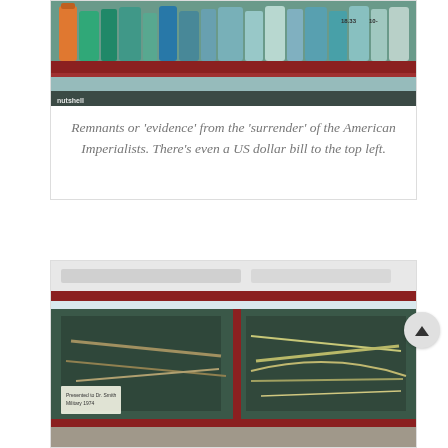[Figure (photo): Photo of a display case showing various bottles, canisters, and items including what appears to be a US dollar bill in the top left area, described as remnants from American Imperialists. A watermark reading 'nutshell' is visible in the bottom left.]
Remnants or 'evidence' from the 'surrender' of the American Imperialists. There's even a US dollar bill to the top left.
[Figure (photo): Photo of a museum display case with a red wooden frame and glass, showing weapons and artifacts including what appear to be rifles and swords/blades. A small label card is visible in the bottom left of the case.]